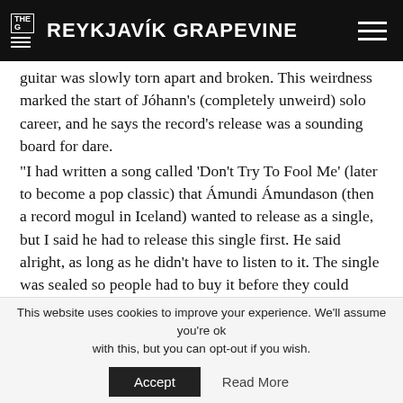THE G REYKJAVIK GRAPEVINE
guitar was slowly torn apart and broken. This weirdness marked the start of Jóhann's (completely unweird) solo career, and he says the record's release was a sounding board for dare. “I had written a song called ‘Don’t Try To Fool Me’ (later to become a pop classic) that Ámundi Ámundason (then a record mogul in Iceland) wanted to release as a single, but I said he had to release this single first. He said alright, as long as he didn’t have to listen to it. The single was sealed so people had to buy it before they could listen to it. Eventually it made a profit, and then Ámundi laughed out loud. Everybody thought I had lost my marbles when this single came out!”
This website uses cookies to improve your experience. We'll assume you're ok with this, but you can opt-out if you wish. Accept Read More